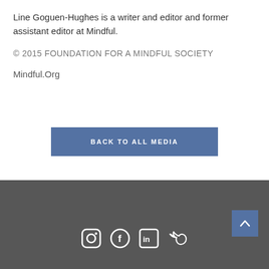Line Goguen-Hughes is a writer and editor and former assistant editor at Mindful.
© 2015 FOUNDATION FOR A MINDFUL SOCIETY
Mindful.Org
BACK TO ALL MEDIA
[Figure (other): Dark grey footer bar with social media icons (Instagram, Facebook, LinkedIn, Twitter) and a blue scroll-to-top button with an upward chevron arrow]